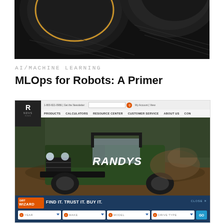[Figure (photo): Close-up photo of dark automotive tire/wheel with gold accent ring on black background]
AI/MACHINE LEARNING
MLOps for Robots: A Primer
[Figure (screenshot): Screenshot of Randy's Worldwide Automotive website showing navigation bar with PRODUCTS, CALCULATORS, RESOURCE CENTER, CUSTOMER SERVICE, ABOUT US, and hero image of green off-road vehicle with RANDYS text, plus Dirt Wizard finder tool at bottom with YEAR, MAKE, MODEL, DRIVE TYPE dropdowns and GO button]